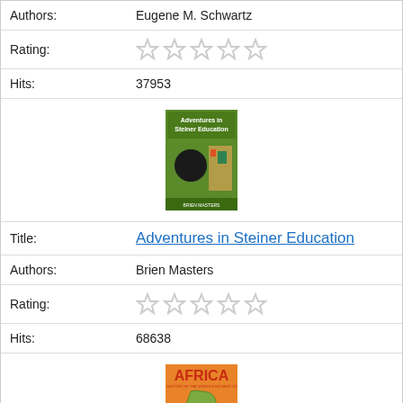| Authors: | Eugene M. Schwartz |
| Rating: | ☆☆☆☆☆ |
| Hits: | 37953 |
| [Book cover: Adventures in Steiner Education] |  |
| Title: | Adventures in Steiner Education |
| Authors: | Brien Masters |
| Rating: | ☆☆☆☆☆ |
| Hits: | 68638 |
| [Book cover: Africa] |  |